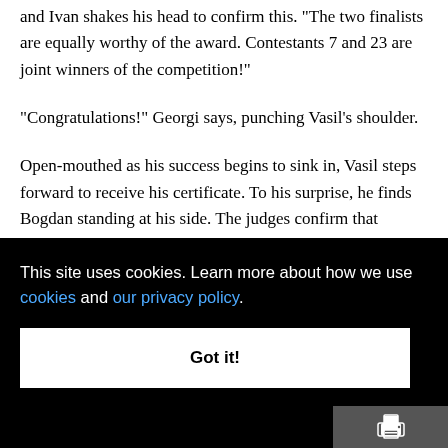and Ivan shakes his head to confirm this. "The two finalists are equally worthy of the award. Contestants 7 and 23 are joint winners of the competition!"
"Congratulations!" Georgi says, punching Vasil's shoulder.
Open-mouthed as his success begins to sink in, Vasil steps forward to receive his certificate. To his surprise, he finds Bogdan standing at his side. The judges confirm that Bogdan is the other winning contestant. Bogdan
This site uses cookies. Learn more about how we use cookies and our privacy policy.
Got it!